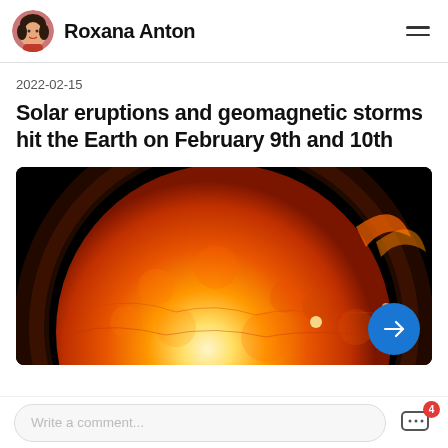Roxana Anton
2022-02-15
Solar eruptions and geomagnetic storms hit the Earth on February 9th and 10th
[Figure (photo): Close-up photograph of the Sun showing its fiery orange and red surface with solar activity and corona against a black background]
Write a comment...